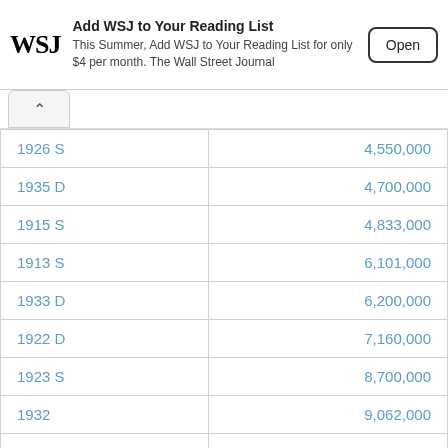[Figure (screenshot): WSJ app banner: Add WSJ to Your Reading List. This Summer, Add WSJ to Your Reading List for only $4 per month. The Wall Street Journal. Open button.]
| 1926 S | 4,550,000 |
| 1935 D | 4,700,000 |
| 1915 S | 4,833,000 |
| 1913 S | 6,101,000 |
| 1933 D | 6,200,000 |
| 1922 D | 7,160,000 |
| 1923 S | 8,700,000 |
| 1932 | 9,062,000 |
| 1912 D | 10,411,000 |
| 1932 D | 10,500,000 |